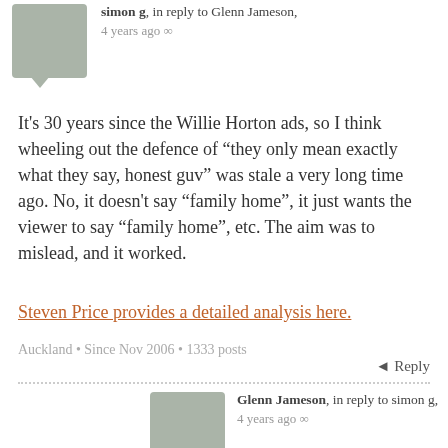simon g, in reply to Glenn Jameson, 4 years ago
It's 30 years since the Willie Horton ads, so I think wheeling out the defence of “they only mean exactly what they say, honest guv” was stale a very long time ago. No, it doesn't say “family home”, it just wants the viewer to say “family home”, etc. The aim was to mislead, and it worked.
Steven Price provides a detailed analysis here.
Auckland • Since Nov 2006 • 1333 posts
Reply
Glenn Jameson, in reply to simon g, 4 years ago
It certainly did — it forced Jacinda to take Capital Gains off the table. :)
Since Sep 2017 • 18 posts
Reply